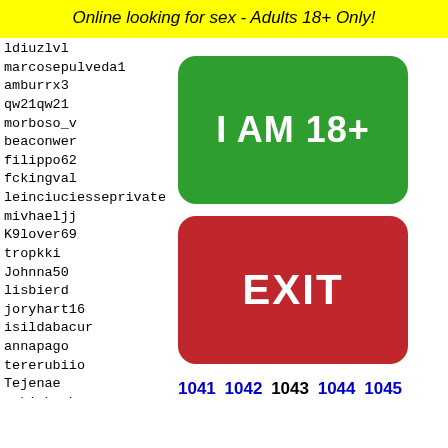Online looking for sex - Adults 18+ Only!
ldiuzlvl
marcosepulveda1
amburrx3
qw21qw21
morboso_v
beaconwer
filippo62
fckingval
leinciuciesseprivate
mivhaeljj
K9lover69
tropkki
Johnna50
lisbierd
joryhart16
isildabacur
annapago
tererubiio
Tejenae
rahipbruhson
lmaopi
consuu
trophy
tmcb17
fermat
hymest
[Figure (other): Green button with text I AM 18+]
[Figure (other): Red button with text EXIT]
1041 1042 1043 1044 1045
[Figure (other): Yellow rounded image with black dots pattern at bottom of page]